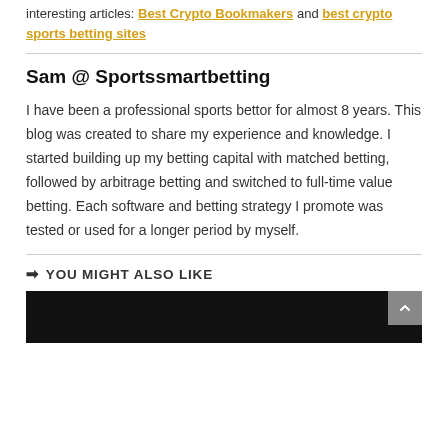interesting articles: Best Crypto Bookmakers and best crypto sports betting sites
Sam @ Sportssmartbetting
I have been a professional sports bettor for almost 8 years. This blog was created to share my experience and knowledge. I started building up my betting capital with matched betting, followed by arbitrage betting and switched to full-time value betting. Each software and betting strategy I promote was tested or used for a longer period by myself.
YOU MIGHT ALSO LIKE
[Figure (photo): Dark/black image thumbnail, partially visible at bottom of page]